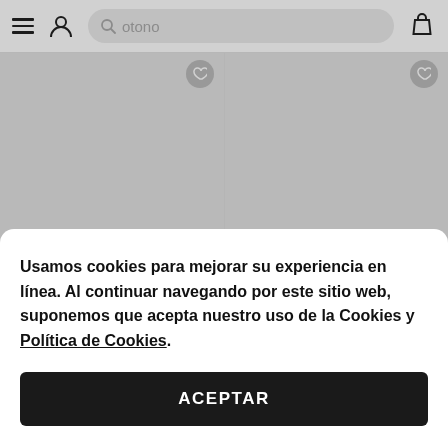[Figure (screenshot): Mobile e-commerce navigation bar with hamburger menu, user icon, search bar with 'otono' placeholder, and shopping bag icon]
Venta ZAFUL Conjunto De Fal...
18,51€  PVP 45,92€
ZAFUL Conjunto De Falda De D...
14,81€  PVP 34,65€
- 67%
- 69%
Usamos cookies para mejorar su experiencia en línea. Al continuar navegando por este sitio web, suponemos que acepta nuestro uso de la Cookies y Política de Cookies.
ACEPTAR